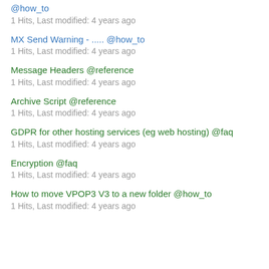@how_to
1 Hits, Last modified: 4 years ago
MX Send Warning - ..... @how_to
1 Hits, Last modified: 4 years ago
Message Headers @reference
1 Hits, Last modified: 4 years ago
Archive Script @reference
1 Hits, Last modified: 4 years ago
GDPR for other hosting services (eg web hosting) @faq
1 Hits, Last modified: 4 years ago
Encryption @faq
1 Hits, Last modified: 4 years ago
How to move VPOP3 V3 to a new folder @how_to
1 Hits, Last modified: 4 years ago